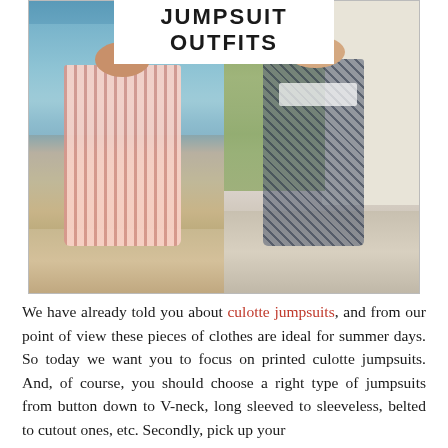JUMPSUIT OUTFITS
[Figure (photo): Two women wearing culotte jumpsuits side by side. Left: woman in pink striped culotte jumpsuit standing by a lake holding a white bag, wearing sandals. Right: woman in dark patterned culotte jumpsuit with white t-shirt underneath, carrying a brown crossbody bag, standing on a sidewalk near a white building.]
We have already told you about culotte jumpsuits, and from our point of view these pieces of clothes are ideal for summer days. So today we want you to focus on printed culotte jumpsuits. And, of course, you should choose a right type of jumpsuits from button down to V-neck, long sleeved to sleeveless, belted to cutout ones, etc. Secondly, pick up your